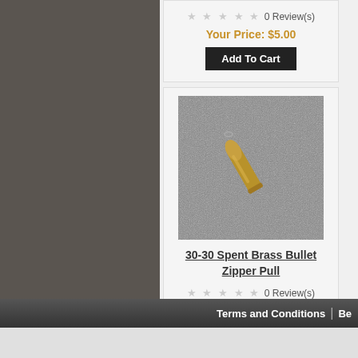0 Review(s)
Your Price: $5.00
Add To Cart
[Figure (photo): Photo of a 30-30 spent brass bullet/zipper pull on a gray background]
30-30 Spent Brass Bullet Zipper Pull
0 Review(s)
Your Price: $5.00
Add To Cart
Terms and Conditions  |  Be...